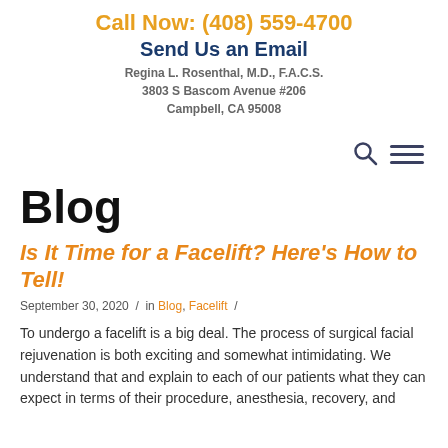Call Now: (408) 559-4700
Send Us an Email
Regina L. Rosenthal, M.D., F.A.C.S.
3803 S Bascom Avenue #206
Campbell, CA 95008
Blog
Is It Time for a Facelift? Here's How to Tell!
September 30, 2020 / in Blog, Facelift /
To undergo a facelift is a big deal. The process of surgical facial rejuvenation is both exciting and somewhat intimidating. We understand that and explain to each of our patients what they can expect in terms of their procedure, anesthesia, recovery, and